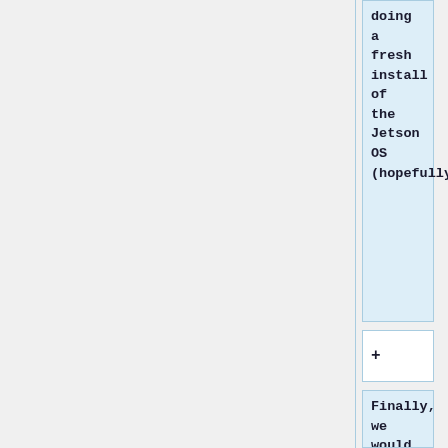doing a fresh install of the Jetson OS (hopefully).
+
Finally, we would suggest for future teams to check to see if the GPU on the Jetson is being properly utilized, as the